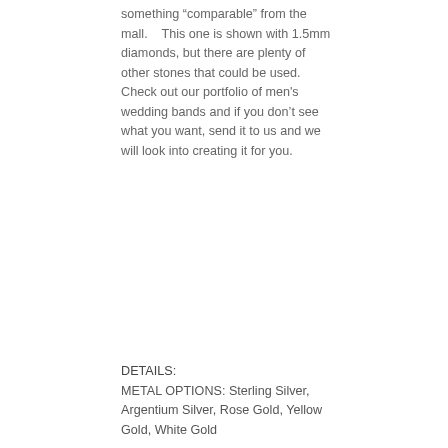something “comparable” from the mall.    This one is shown with 1.5mm diamonds, but there are plenty of other stones that could be used.  Check out our portfolio of men's wedding bands and if you don't see what you want, send it to us and we will look into creating it for you.
DETAILS:
METAL OPTIONS: Sterling Silver, Argentium Silver, Rose Gold, Yellow Gold, White Gold